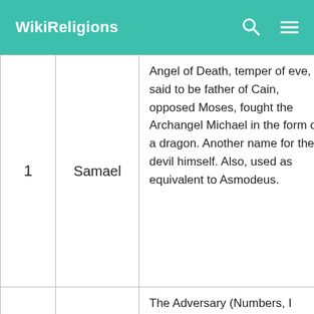WikiReligions
|  | Name | Description |
| --- | --- | --- |
| 1 | Samael | Angel of Death, temper of eve, said to be father of Cain, opposed Moses, fought the Archangel Michael in the form of a dragon. Another name for the devil himself. Also, used as equivalent to Asmodeus. |
|  |  | The Adversary (Numbers, I Samuel), a Hebrew designator |